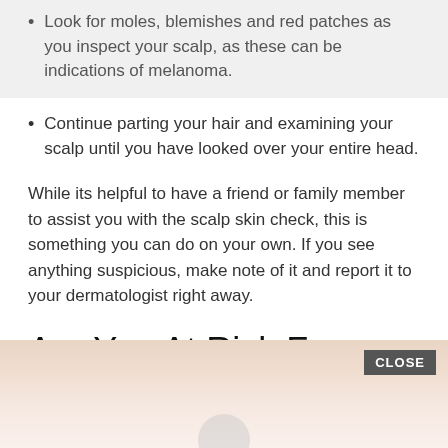Look for moles, blemishes and red patches as you inspect your scalp, as these can be indications of melanoma.
Continue parting your hair and examining your scalp until you have looked over your entire head.
While its helpful to have a friend or family member to assist you with the scalp skin check, this is something you can do on your own. If you see anything suspicious, make note of it and report it to your dermatologist right away.
Are You At Risk For Melanoma
[Figure (photo): Partial view of a skin-tone textured image with a CLOSE button overlay in the upper right corner, and a partial circular element at the bottom center.]